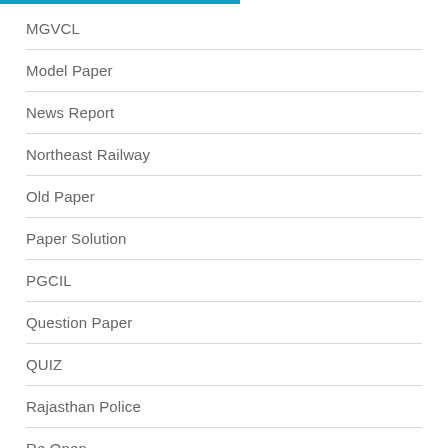MGVCL
Model Paper
News Report
Northeast Railway
Old Paper
Paper Solution
PGCIL
Question Paper
QUIZ
Rajasthan Police
Re Open
Re-Exam
Recruitment
Rejection List